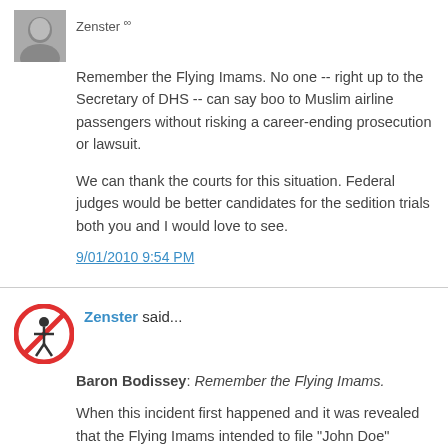Zenster
Remember the Flying Imams. No one -- right up to the Secretary of DHS -- can say boo to Muslim airline passengers without risking a career-ending prosecution or lawsuit.
We can thank the courts for this situation. Federal judges would be better candidates for the sedition trials both you and I would love to see.
9/01/2010 9:54 PM
Zenster said...
Baron Bodissey: Remember the Flying Imams.
When this incident first happened and it was revealed that the Flying Imams intended to file "John Doe" lawsuits against the, till then, unnamed witnesses, I personally telephoned Gerry Nolting – whose Minnesota law firm Faegre & Benson LLP offered pro bono defense of said witnesses – in order to encourage his